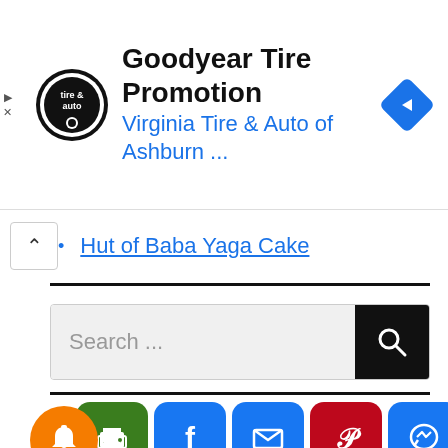[Figure (screenshot): Ad banner for Goodyear Tire Promotion from Virginia Tire & Auto of Ashburn with logo and navigation icon]
Hut of Baba Yaga Cake
[Figure (screenshot): Search bar with text 'Search ...' and a black search button with magnifying glass icon]
[Figure (infographic): Social sharing icons row: print (green), Facebook (blue), email/mail (blue), Pinterest (red), Messenger (blue), plus (blue), and orange notification bell overlay]